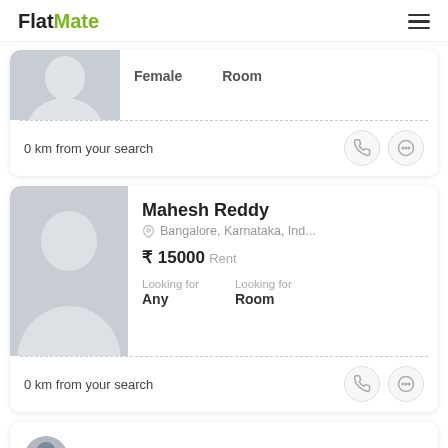FlatMate
[Figure (screenshot): Partial user listing card showing Female / Room with 0 km from your search and call/chat action buttons]
[Figure (screenshot): User listing card for Mahesh Reddy, Bangalore Karnataka Ind..., Rent ₹ 15000, Looking for Any / Room, 0 km from your search]
Mahesh Reddy
Bangalore, Karnataka, Ind...
₹ 15000 Rent
Looking for Any
Looking for Room
0 km from your search
Kenny Gonsalves